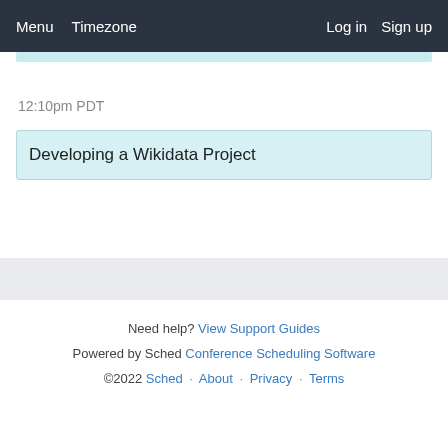Menu  Timezone  Log in  Sign up
12:10pm PDT
Developing a Wikidata Project
Need help? View Support Guides
Powered by Sched Conference Scheduling Software
©2022 Sched · About · Privacy · Terms